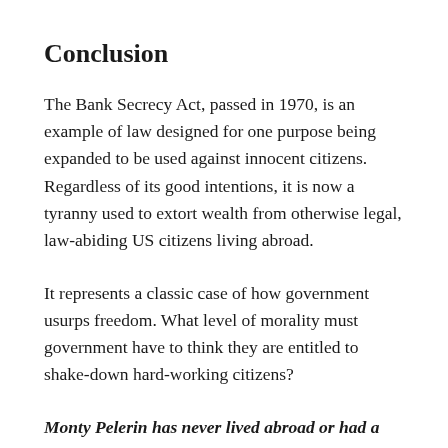Conclusion
The Bank Secrecy Act, passed in 1970, is an example of law designed for one purpose being expanded to be used against innocent citizens. Regardless of its good intentions, it is now a tyranny used to extort wealth from otherwise legal, law-abiding US citizens living abroad.
It represents a classic case of how government usurps freedom. What level of morality must government have to think they are entitled to shake-down hard-working citizens?
Monty Pelerin has never lived abroad or had a